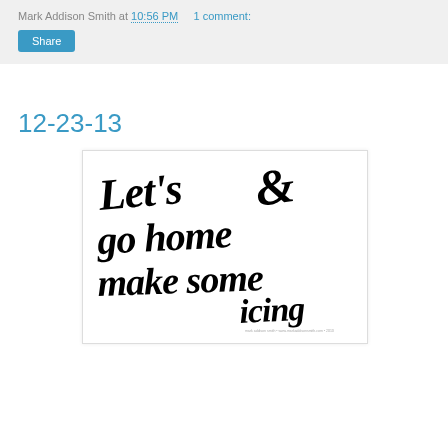Mark Addison Smith at 10:56 PM    1 comment:
Share
12-23-13
[Figure (illustration): Hand-lettered black script on white background reading 'Let's go home & make some icing']